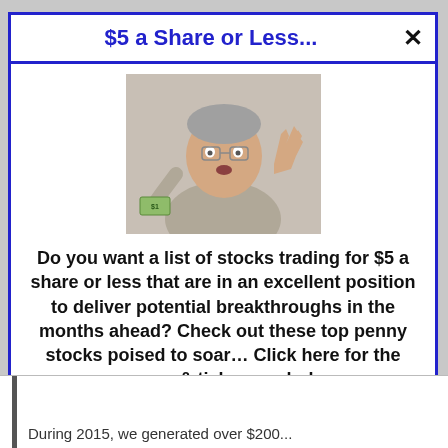$5 a Share or Less...
[Figure (photo): Middle-aged man with gray hair raising one hand and holding a dollar bill in the other hand, looking surprised]
Do you want a list of stocks trading for $5 a share or less that are in an excellent position to deliver potential breakthroughs in the months ahead? Check out these top penny stocks poised to soar… Click here for the names & ticker symbols.
>>> See The List <<<
During 2015, we generated over $200...